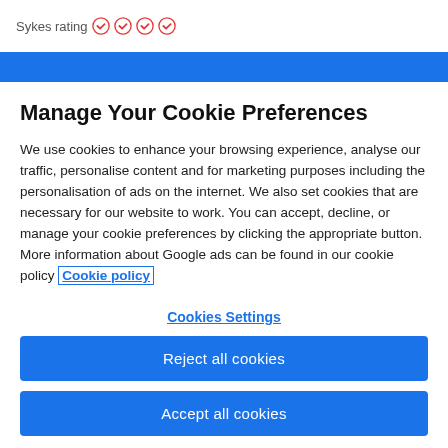Sykes rating ✓✓✓✓
[Figure (other): Blue button/banner partially visible at top of modal]
Manage Your Cookie Preferences
We use cookies to enhance your browsing experience, analyse our traffic, personalise content and for marketing purposes including the personalisation of ads on the internet. We also set cookies that are necessary for our website to work. You can accept, decline, or manage your cookie preferences by clicking the appropriate button. More information about Google ads can be found in our cookie policy Cookie policy
Cookies Settings
Reject all cookies
Accept all cookies